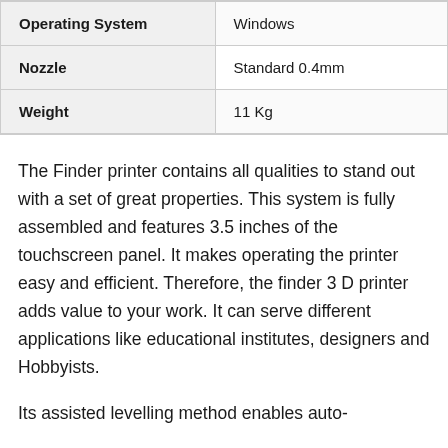| Operating System | Windows |
| Nozzle | Standard 0.4mm |
| Weight | 11 Kg |
The Finder printer contains all qualities to stand out with a set of great properties. This system is fully assembled and features 3.5 inches of the touchscreen panel. It makes operating the printer easy and efficient. Therefore, the finder 3 D printer adds value to your work. It can serve different applications like educational institutes, designers and Hobbyists.
Its assisted levelling method enables auto-